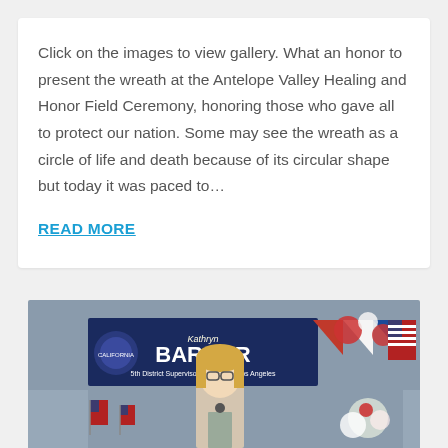Click on the images to view gallery. What an honor to present the wreath at the Antelope Valley Healing and Honor Field Ceremony, honoring those who gave all to protect our nation. Some may see the wreath as a circle of life and death because of its circular shape but today it was paced to…
READ MORE
[Figure (photo): A woman with blonde hair and glasses speaking at a podium in front of a Barger 5th District Supervisor County of Los Angeles banner, with American flag decorations and balloons in the background.]